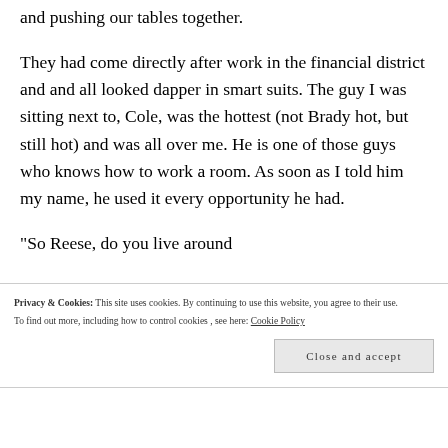and pushing our tables together.
They had come directly after work in the financial district and and all looked dapper in smart suits. The guy I was sitting next to, Cole, was the hottest (not Brady hot, but still hot) and was all over me. He is one of those guys who knows how to work a room. As soon as I told him my name, he used it every opportunity he had.
"So Reese, do you live around
Privacy & Cookies: This site uses cookies. By continuing to use this website, you agree to their use. To find out more, including how to control cookies, see here: Cookie Policy